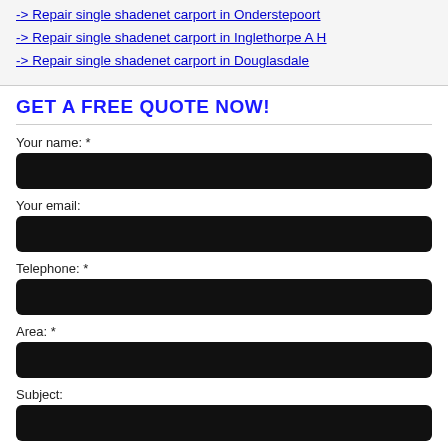-> Repair single shadenet carport in Onderstepoort
-> Repair single shadenet carport in Inglethorpe A H
-> Repair single shadenet carport in Douglasdale
GET A FREE QUOTE NOW!
Your name: *
Your email:
Telephone: *
Area: *
Subject: